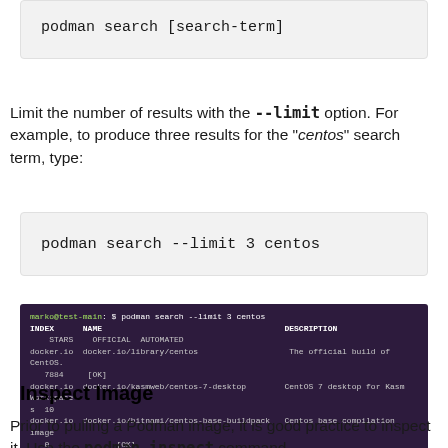[Figure (screenshot): Terminal/code block showing: podman search [search-term]]
Limit the number of results with the --limit option. For example, to produce three results for the "centos" search term, type:
[Figure (screenshot): Code block showing: podman search --limit 3 centos]
[Figure (screenshot): Terminal screenshot showing output of 'podman search --limit 3 centos' with INDEX, NAME, STARS, OFFICIAL, AUTOMATED, DESCRIPTION columns listing docker.io/library/centos, docker.io/kasmweb/centos-7-desktop, docker.io/bitnami/centos-base-buildpack]
Inspect Image
Prior to pulling a Podman image, it is good practice to inspect it. Use the podman inspect command